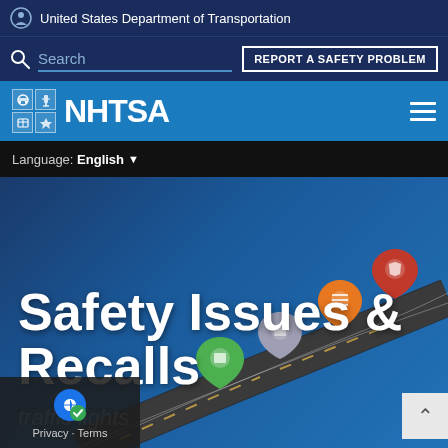United States Department of Transportation
Search | REPORT A SAFETY PROBLEM
[Figure (logo): NHTSA logo with grid of transport icons and NHTSA text in white on blue background, hamburger menu icon on right]
Language: English
Safety Issues & Recalls
[Figure (illustration): Illustrated road with colored map pin markers (green, purple, orange, red) representing different safety issue categories. Text partially visible: traffic lights]
Privacy - Terms